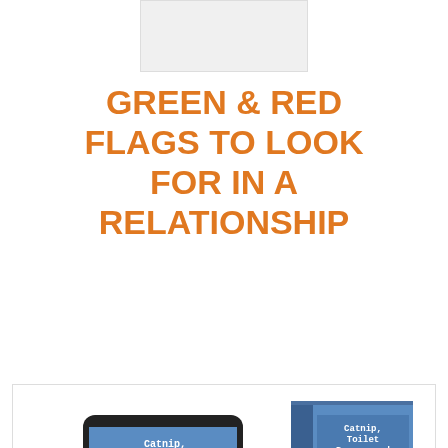[Figure (other): Small white/light grey rectangular placeholder image at top center]
GREEN & RED FLAGS TO LOOK FOR IN A RELATIONSHIP
[Figure (photo): Three versions of the book 'Catnip, Toilet Paper, and Lasers' by M.G. Moral shown as a hardcover book, tablet, and smartphone against a white background]
[Figure (logo): Partial cursive/script logo text visible at bottom, appears to start with 'f t']